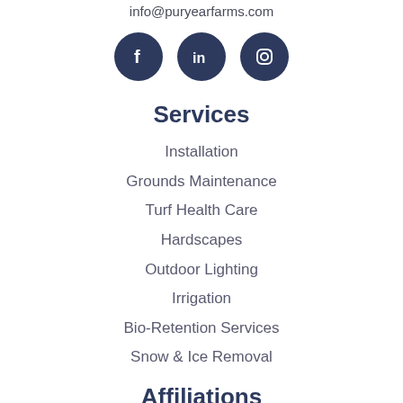info@puryearfarms.com
[Figure (illustration): Three social media icon circles (Facebook, LinkedIn, Instagram) in dark navy blue]
Services
Installation
Grounds Maintenance
Turf Health Care
Hardscapes
Outdoor Lighting
Irrigation
Bio-Retention Services
Snow & Ice Removal
Affiliations